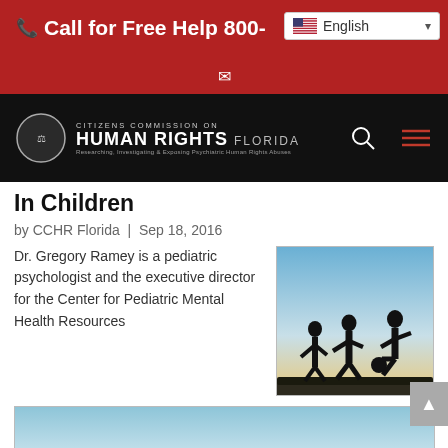Call for Free Help 800- | English
[Figure (logo): Citizens Commission on Human Rights Florida logo in navigation bar]
In Children
by CCHR Florida | Sep 18, 2016
Dr. Gregory Ramey is a pediatric psychologist and the executive director for the Center for Pediatric Mental Health Resources
[Figure (illustration): Silhouette of three children playing soccer against a yellow and blue sky background]
[Figure (photo): Partial image at bottom of page with light blue gradient sky]